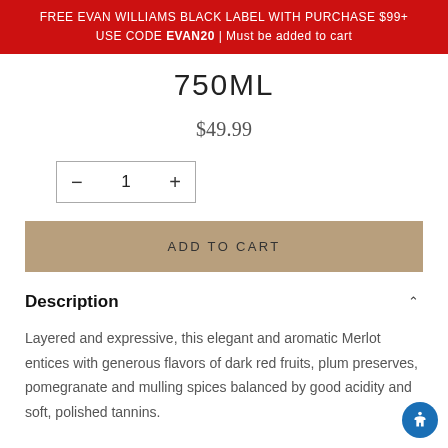FREE EVAN WILLIAMS BLACK LABEL WITH PURCHASE $99+ USE CODE EVAN20 | Must be added to cart
750ML
$49.99
Description
Layered and expressive, this elegant and aromatic Merlot entices with generous flavors of dark red fruits, plum preserves, pomegranate and mulling spices balanced by good acidity and soft, polished tannins.